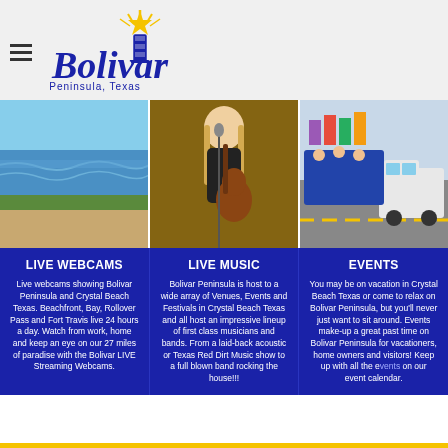[Figure (logo): Bolivar Peninsula Texas logo with lighthouse and star, hamburger menu icon on left]
[Figure (photo): Three side-by-side photos: beach shoreline, woman playing guitar, Mardi Gras parade floats on road]
LIVE WEBCAMS
Live webcams showing Bolivar Peninsula and Crystal Beach Texas. Beachfront, Bay, Rollover Pass and Fort Travis live 24 hours a day. Watch from work, home and keep an eye on our 27 miles of paradise with the Bolivar LIVE Streaming Webcams.
LIVE MUSIC
Bolivar Peninsula is host to a wide array of Venues, Events and Festivals in Crystal Beach Texas and all host an impressive lineup of first class musicians and bands. From a laid-back acoustic or Texas Red Dirt Music show to a full blown band rocking the house!!!
EVENTS
You may be on vacation in Crystal Beach Texas or come to relax on Bolivar Peninsula, but you'll never just want to sit around. Events make-up a great past time on Bolivar Peninsula for vacationers, home owners and visitors! Keep up with all the events on our event calendar.